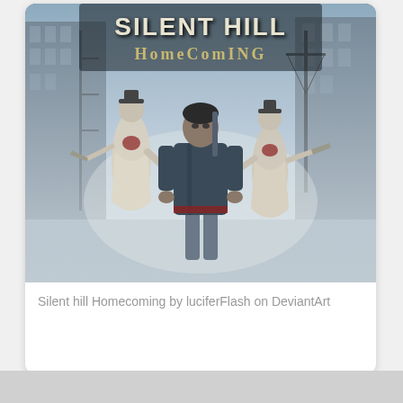[Figure (illustration): Silent Hill Homecoming promotional artwork showing three characters: a central male figure in a dark jacket flanked by two female creatures in tattered white outfits with blades, set against a foggy urban backdrop with buildings and utility poles. The game logo 'Silent Hill Homecoming' appears at the top in a horror-style font.]
Silent hill Homecoming by luciferFlash on DeviantArt